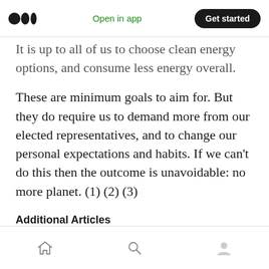Medium logo | Open in app | Get started
It is up to all of us to choose clean energy options, and consume less energy overall.
These are minimum goals to aim for. But they do require us to demand more from our elected representatives, and to change our personal expectations and habits. If we can't do this then the outcome is unavoidable: no more planet. (1) (2) (3)
Additional Articles
Loss of Biodiversity, how bad is it?
Does Tree Planting Help The Planet?
Home | Search | Profile navigation icons